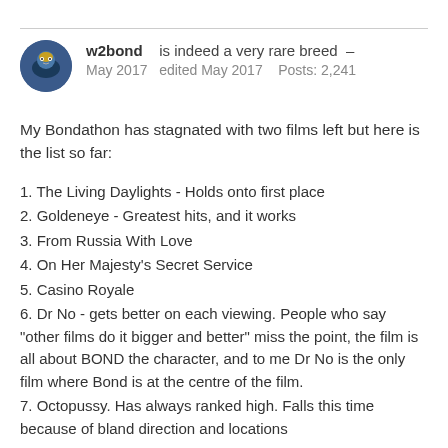w2bond   is indeed a very rare breed  –  May 2017   edited May 2017   Posts: 2,241
My Bondathon has stagnated with two films left but here is the list so far:
1. The Living Daylights - Holds onto first place
2. Goldeneye - Greatest hits, and it works
3. From Russia With Love
4. On Her Majesty's Secret Service
5. Casino Royale
6. Dr No - gets better on each viewing. People who say "other films do it bigger and better" miss the point, the film is all about BOND the character, and to me Dr No is the only film where Bond is at the centre of the film.
7. Octopussy. Has always ranked high. Falls this time because of bland direction and locations
8. Goldfinger - Significant jump up, I get this movie now